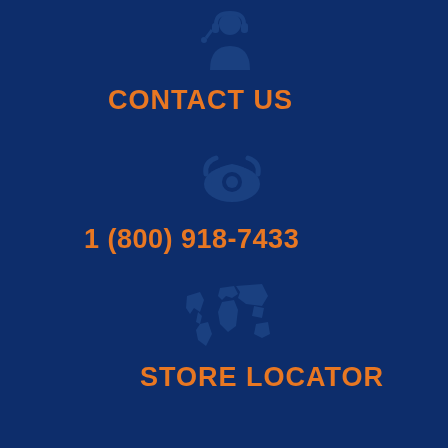[Figure (illustration): Customer service / headset person icon in dark blue silhouette]
CONTACT US
[Figure (illustration): Telephone / rotary phone icon in dark blue silhouette]
1 (800) 918-7433
[Figure (illustration): World map / globe icon in dark blue silhouette]
STORE LOCATOR
CUSTOMER SUPPORT
My Account
Payment Options
Store Locator